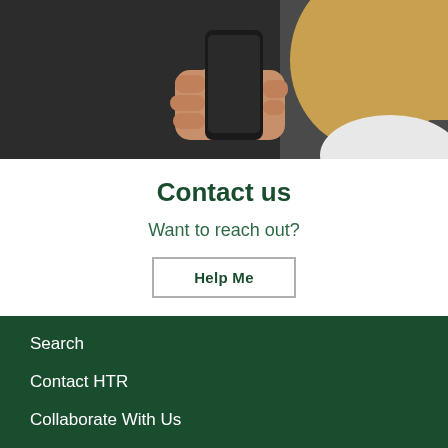[Figure (photo): Close-up photo of a person with blonde hair holding a smartphone, dark background]
Contact us
Want to reach out?
Help Me
Search
Contact HTR
Collaborate With Us